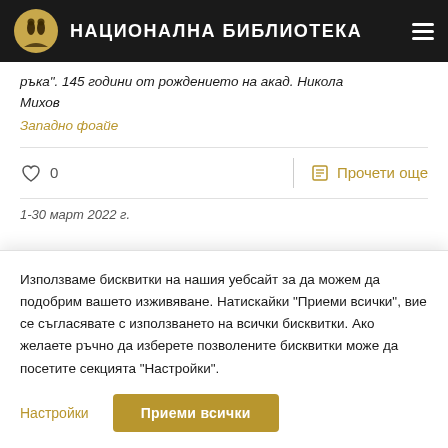НАЦИОНАЛНА БИБЛИОТЕКА
ръка". 145 години от рождението на акад. Никола Михов
Западно фоайе
0   Прочети още
1-30 март 2022 г.
Използваме бисквитки на нашия уебсайт за да можем да подобрим вашето изживяване. Натискайки "Приеми всички", вие се съгласявате с използването на всички бисквитки. Ако желаете ръчно да изберете позволените бисквитки може да посетите секцията "Настройки".
Настройки
Приеми всички